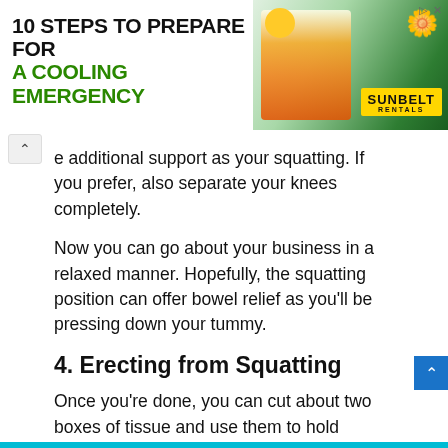[Figure (other): Advertisement banner: '10 STEPS TO PREPARE FOR A COOLING EMERGENCY' with a worker in safety vest and Sunbelt Rentals logo]
e additional support as your squatting. If you prefer, also separate your knees completely.
Now you can go about your business in a relaxed manner. Hopefully, the squatting position can offer bowel relief as you’ll be pressing down your tummy.
4. Erecting from Squatting
Once you’re done, you can cut about two boxes of tissue and use them to hold against the wall for support as you get up. Depending on how long you remained in a squatting position, your knees could have turned numb, hence use the wall for